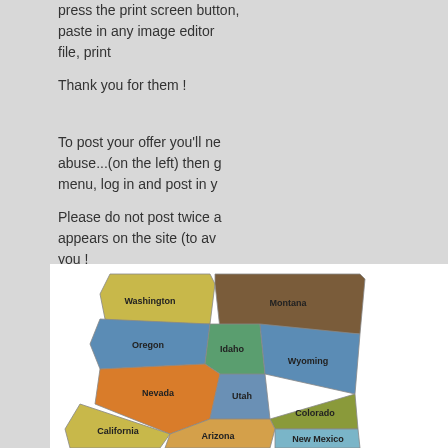press the print screen button, paste in any image editor file, print
Thank you for them !
To post your offer you'll need to avoid abuse...(on the left) then go to the menu, log in and post in y...
Please do not post twice a... appears on the site (to av... you !
[Figure (map): Colorful map of western United States showing states: Washington, Montana, Oregon, Idaho, Wyoming, Nevada, Utah, Colorado, California, Arizona, New Mexico]